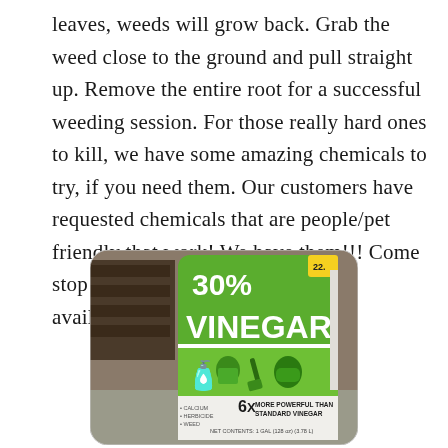leaves, weeds will grow back. Grab the weed close to the ground and pull straight up. Remove the entire root for a successful weeding session. For those really hard ones to kill, we have some amazing chemicals to try, if you need them. Our customers have requested chemicals that are people/pet friendly that work! We have them!!! Come stop by and talk to us about options available.
[Figure (photo): Photo of a green and white gallon jug of 30% Vinegar product. The label prominently shows '30% VINEGAR' in large white text on a green background, with icons of a watering can, shirt, shovel, and glove. Below reads '6X MORE POWERFUL THAN STANDARD VINEGAR'. At the bottom: 'NET CONTENTS: 1 GAL (128 oz) (3.78 L)'.]